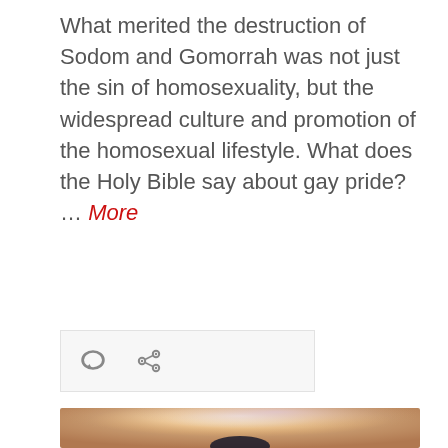What merited the destruction of Sodom and Gomorrah was not just the sin of homosexuality, but the widespread culture and promotion of the homosexual lifestyle. What does the Holy Bible say about gay pride? … More
[Figure (other): Icon bar with comment bubble icon and share/link icon on a light gray background]
[Figure (photo): A silhouette of a person with arms outstretched wide against a glowing warm orange and purple sky background with light sparkles]